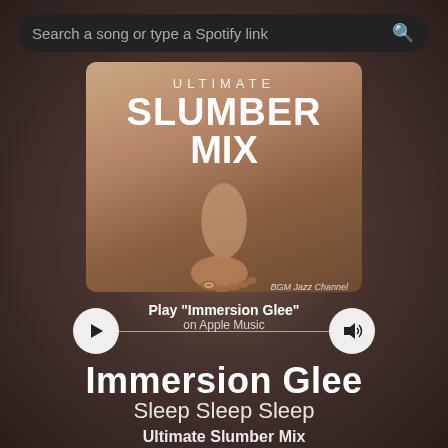Search a song or type a Spotify link
[Figure (illustration): Album art for Ultimate Slumber Mix by BGM Jazz Channel showing feet on bed with white text overlay reading ULTIMATE SLUMBER MIX]
Play "Immersion Glee" on Apple Music
Immersion Glee
Sleep Sleep Sleep
Ultimate Slumber Mix